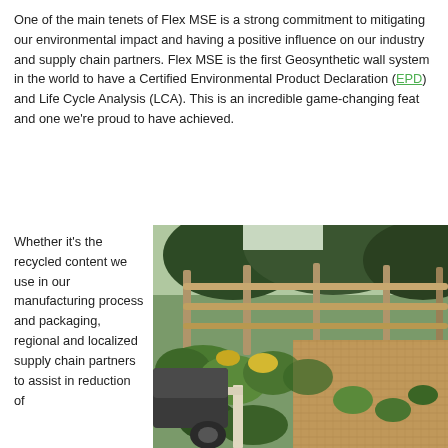One of the main tenets of Flex MSE is a strong commitment to mitigating our environmental impact and having a positive influence on our industry and supply chain partners. Flex MSE is the first Geosynthetic wall system in the world to have a Certified Environmental Product Declaration (EPD) and Life Cycle Analysis (LCA). This is an incredible game-changing feat and one we're proud to have achieved.
Whether it's the recycled content we use in our manufacturing process and packaging, regional and localized supply chain partners to assist in reduction of
[Figure (photo): Outdoor photograph showing a landscaped retaining wall area with green shrubbery and plants, a wooden rail fence in the background, gravel/mulch ground cover, and a partial view of a dark-colored car on the left side.]